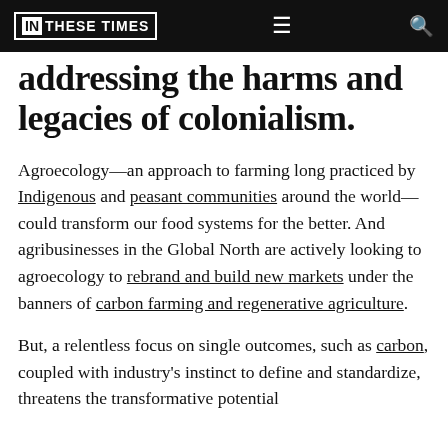IN THESE TIMES
addressing the harms and legacies of colonialism.
Agroecology—an approach to farming long practiced by Indigenous and peasant communities around the world—could transform our food systems for the better. And agribusinesses in the Global North are actively looking to agroecology to rebrand and build new markets under the banners of carbon farming and regenerative agriculture.
But, a relentless focus on single outcomes, such as carbon, coupled with industry's instinct to define and standardize, threatens the transformative potential